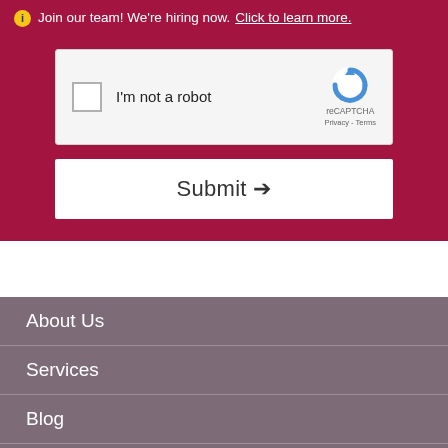ℹ Join our team! We're hiring now. Click to learn more.
[Figure (screenshot): reCAPTCHA widget with checkbox labeled 'I'm not a robot' and reCAPTCHA logo with Privacy and Terms links]
Submit →
About Us
Services
Blog
View Sales
Contact
Areas Served